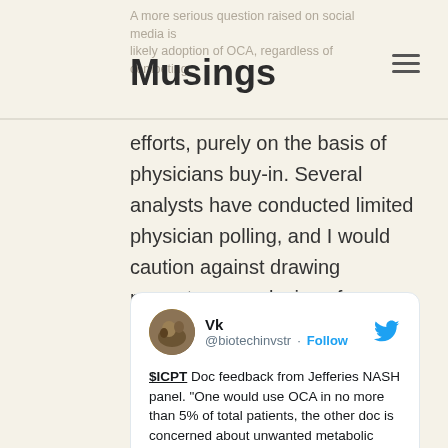Musings
efforts, purely on the basis of physicians buy-in. Several analysts have conducted limited physician polling, and I would caution against drawing premature conclusions from extremely small samples such as the 2 physicians being quoted in this tweet:
[Figure (screenshot): Embedded tweet from @biotechinvstr (Vk) with Twitter bird logo and Follow button. Tweet text: '$ICPT Doc feedback from Jefferies NASH panel. "One would use OCA in no more than 5% of total patients, the other doc is concerned about unwanted metabolic side effects and would use OCA in a lower...']